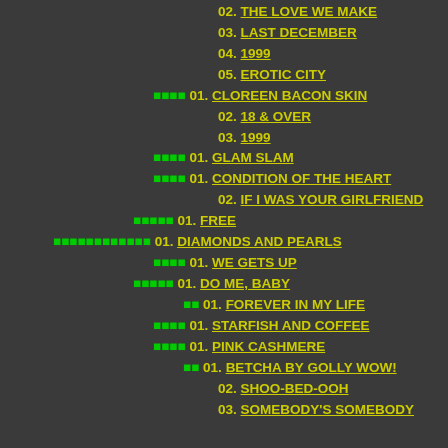02. THE LOVE WE MAKE
03. LAST DECEMBER
04. 1999
05. EROTIC CITY
▪▪▪▪ 01. CLOREEN BACON SKIN
02. 18 & OVER
03. 1999
▪▪▪▪ 01. GLAM SLAM
▪▪▪▪ 01. CONDITION OF THE HEART
02. IF I WAS YOUR GIRLFRIEND
▪▪▪▪▪ 01. FREE
▪▪▪▪▪▪▪▪▪▪▪▪ 01. DIAMONDS AND PEARLS
▪▪▪▪ 01. WE GETS UP
▪▪▪▪▪ 01. DO ME, BABY
▪▪ 01. FOREVER IN MY LIFE
▪▪▪▪ 01. STARFISH AND COFFEE
▪▪▪▪ 01. PINK CASHMERE
▪▪ 01. BETCHA BY GOLLY WOW!
02. SHOO-BED-OOH
03. SOMEBODY'S SOMEBODY